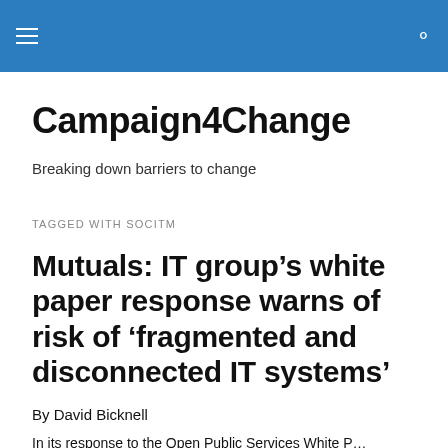Campaign4Change
Campaign4Change
Breaking down barriers to change
TAGGED WITH SOCITM
Mutuals: IT group’s white paper response warns of risk of ‘fragmented and disconnected IT systems’
By David Bicknell
In its response to the Open Public Services White P…